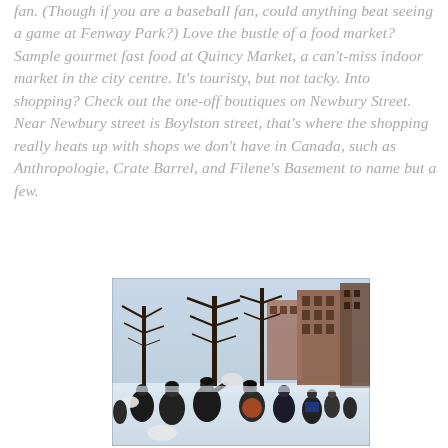fan. (Though if you are a baseball fan, could anything beat seeing a game at Fenway Park?) Love the bustle of a food market? Sample gourmet fast food at Quincy Market, a can't-miss indoor market in the city centre. It's touristy, but not tacky. Into shopping? Check out the one-off boutiques on Newbury Street. Near Newbury street is Boylston street, that's where the shopping really heats up with shops we don't have in Canada, such as Anthropologie, Crate Barrel, and Filene's Basement to name but a few.
[Figure (photo): Outdoor winter scene showing a group of people in a park or public square having a pillow fight in the snow. Bare trees and brick buildings are visible in the background.]